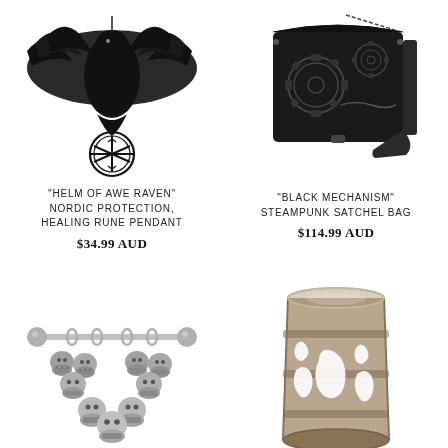[Figure (photo): Black raven pendant with spread wings atop a circular Nordic helm of awe rune symbol]
"HELM OF AWE RAVEN" NORDIC PROTECTION, HEALING RUNE PENDANT
$34.99 AUD
[Figure (photo): Black steampunk satchel bag with gear mechanism design on the front]
"BLACK MECHANISM" STEAMPUNK SATCHEL BAG
$114.99 AUD
[Figure (photo): Silver skull cluster nipple shield body jewelry with barbell]
[Figure (photo): Rustic metal cylindrical candle holder with cutout filigree pattern]